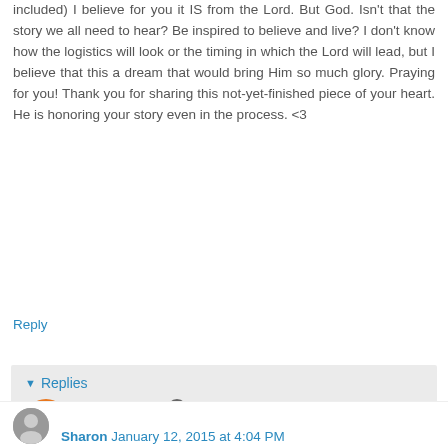included) I believe for you it IS from the Lord. But God. Isn't that the story we all need to hear? Be inspired to believe and live? I don't know how the logistics will look or the timing in which the Lord will lead, but I believe that this a dream that would bring Him so much glory. Praying for you! Thank you for sharing this not-yet-finished piece of your heart. He is honoring your story even in the process. <3
Reply
Replies
Simply Beth  January 14, 2015 at 5:51 AM
Becky, I am so grateful you popped back in. Thank you for your words of encouragement and for your prayers. Thank you mostly for your friendship as we do this writing journey together. Much love. xoxo
Reply
Sharon  January 12, 2015 at 4:04 PM